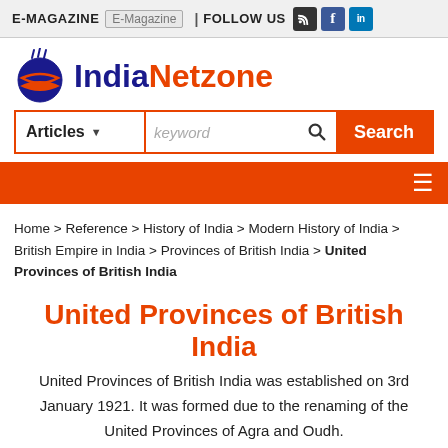E-MAGAZINE | FOLLOW US
[Figure (logo): IndiaNetzone logo with blue/orange globe graphic and India in blue, Netzone in orange text]
[Figure (other): Search bar with Articles dropdown, keyword input, and Search button]
[Figure (other): Red navigation bar with hamburger menu icon]
Home > Reference > History of India > Modern History of India > British Empire in India > Provinces of British India > United Provinces of British India
United Provinces of British India
United Provinces of British India was established on 3rd January 1921. It was formed due to the renaming of the United Provinces of Agra and Oudh.